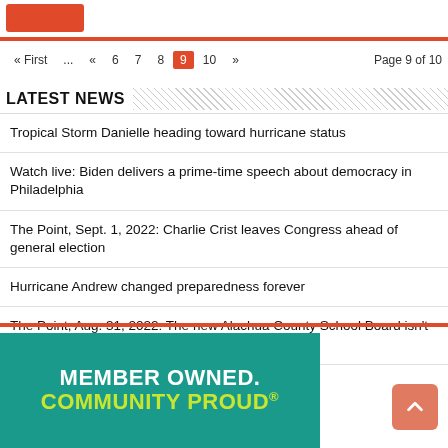« First ... « 6 7 8 9 10 » Page 9 of 10
LATEST NEWS
Tropical Storm Danielle heading toward hurricane status
Watch live: Biden delivers a prime-time speech about democracy in Philadelphia
The Point, Sept. 1, 2022: Charlie Crist leaves Congress ahead of general election
Hurricane Andrew changed preparedness forever
The Point, Aug. 31, 2022: The new Alachua County School Board isn't prioritizing a superintendent search
[Figure (illustration): Advertisement banner with teal background reading MEMBER OWNED. COMMUNITY PROUD with registered trademark symbol]